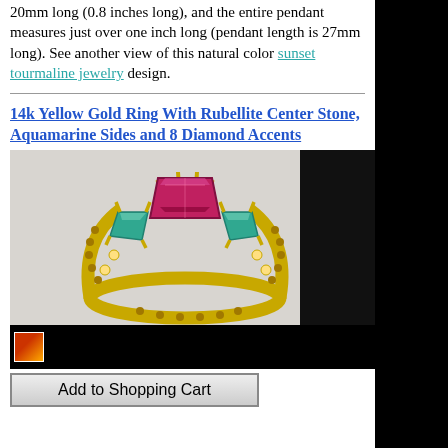20mm long (0.8 inches long), and the entire pendant measures just over one inch long (pendant length is 27mm long). See another view of this natural color sunset tourmaline jewelry design.
14k Yellow Gold Ring With Rubellite Center Stone, Aquamarine Sides and 8 Diamond Accents
[Figure (photo): Photo of a 14k yellow gold ring with a large rubellite (pink/red) center stone, aquamarine side stones, and diamond accents along the band.]
[Figure (photo): Thumbnail image of the ring in a black bar.]
Add to Shopping Cart